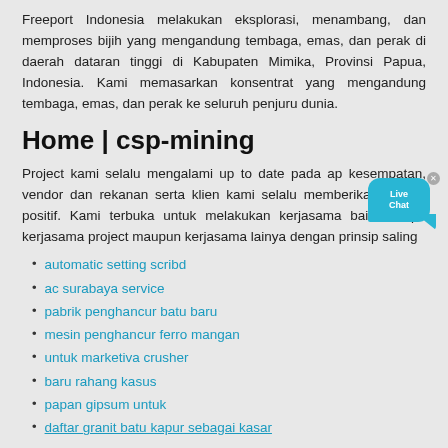Freeport Indonesia melakukan eksplorasi, menambang, dan memproses bijih yang mengandung tembaga, emas, dan perak di daerah dataran tinggi di Kabupaten Mimika, Provinsi Papua, Indonesia. Kami memasarkan konsentrat yang mengandung tembaga, emas, dan perak ke seluruh penjuru dunia.
Home | csp-mining
Project kami selalu mengalami up to date pada ap kesempatan, vendor dan rekanan serta klien kami selalu memberikan respon positif. Kami terbuka untuk melakukan kerjasama baik berupa kerjasama project maupun kerjasama lainya dengan prinsip saling
automatic setting scribd
ac surabaya service
pabrik penghancur batu baru
mesin penghancur ferro mangan
untuk marketiva crusher
baru rahang kasus
papan gipsum untuk
daftar granit batu kapur sebagai kasar